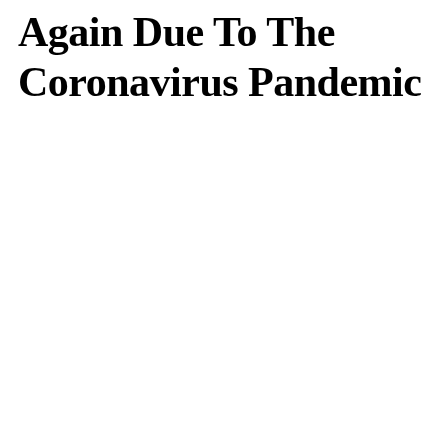Again Due To The Coronavirus Pandemic